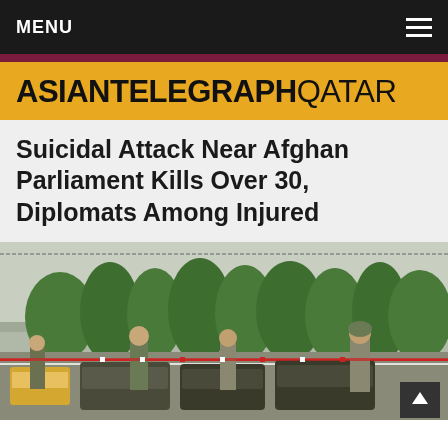MENU
ASIANTELEGRAPH QATAR
Suicidal Attack Near Afghan Parliament Kills Over 30, Diplomats Among Injured
[Figure (photo): Street scene near Afghan parliament showing soldiers, vehicles, red-and-white security tape, trees and walls in the background, appearing to be the aftermath of an attack.]